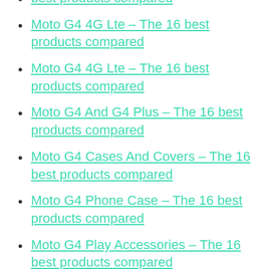best products compared
Moto G4 4G Lte – The 16 best products compared
Moto G4 4G Lte – The 16 best products compared
Moto G4 And G4 Plus – The 16 best products compared
Moto G4 Cases And Covers – The 16 best products compared
Moto G4 Phone Case – The 16 best products compared
Moto G4 Play Accessories – The 16 best products compared